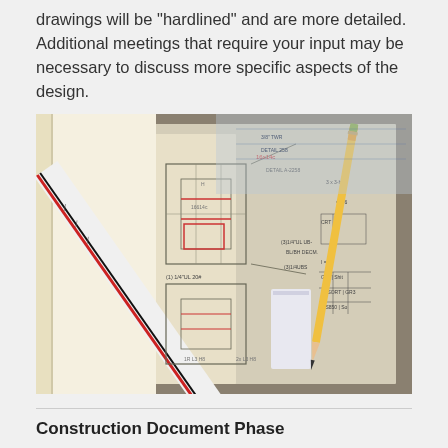drawings will be "hardlined" and are more detailed. Additional meetings that require your input may be necessary to discuss more specific aspects of the design.
[Figure (photo): Photo of engineering/architectural drawings on a table with a ruler, pencil, and eraser. The drawings show technical sketches with annotations and measurements.]
Construction Document Phase
In this phase, the drawings are...